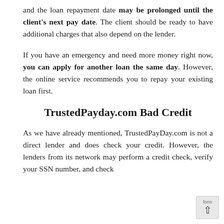and the loan repayment date may be prolonged until the client's next pay date. The client should be ready to have additional charges that also depend on the lender.
If you have an emergency and need more money right now, you can apply for another loan the same day. However, the online service recommends you to repay your existing loan first.
TrustedPayday.com Bad Credit
As we have already mentioned, TrustedPayDay.com is not a direct lender and does check your credit. However, the lenders from its network may perform a credit check, verify your SSN number, and check